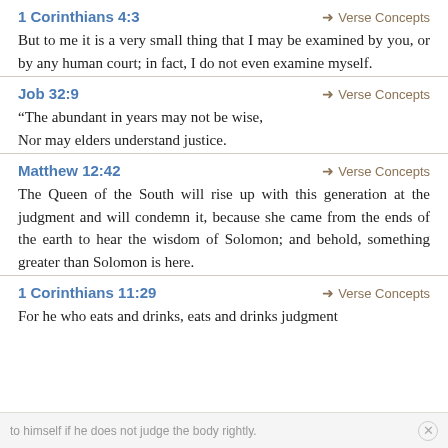1 Corinthians 4:3
But to me it is a very small thing that I may be examined by you, or by any human court; in fact, I do not even examine myself.
Job 32:9
“The abundant in years may not be wise,
Nor may elders understand justice.
Matthew 12:42
The Queen of the South will rise up with this generation at the judgment and will condemn it, because she came from the ends of the earth to hear the wisdom of Solomon; and behold, something greater than Solomon is here.
1 Corinthians 11:29
For he who eats and drinks, eats and drinks judgment
to himself if he does not judge the body rightly.